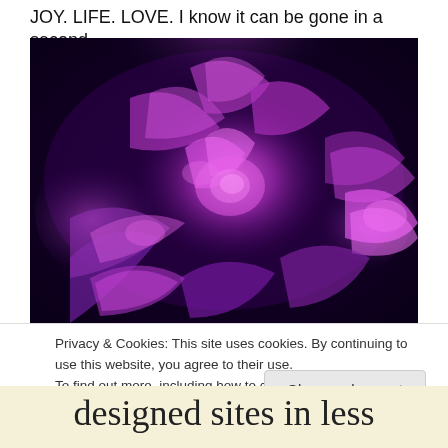JOY. LIFE. LOVE. I know it can be gone in a second.
[Figure (photo): Close-up photograph of a purple/violet rose with dramatic dark purple background, the petals illuminated in bright magenta-purple tones creating a moody, artistic effect.]
Privacy & Cookies: This site uses cookies. By continuing to use this website, you agree to their use.
To find out more, including how to control cookies, see here: Cookie Policy
Close and accept
designed sites in less